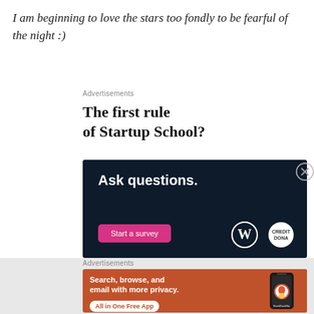I am beginning to love the stars too fondly to be fearful of the night :)
Advertisements
[Figure (infographic): Advertisement for Startup School with bold text 'The first rule of Startup School?' and a dark navy banner showing 'Ask questions.' with a pink 'Start a survey' button and WordPress and credit logos.]
Advertisements
[Figure (infographic): DuckDuckGo advertisement with orange background reading 'Search, browse, and email with more privacy. All in One Free App' with a phone showing DuckDuckGo app icon.]